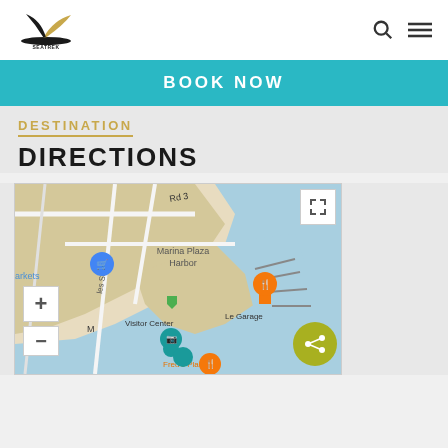SeaTrek logo and navigation header
BOOK NOW
DESTINATION
DIRECTIONS
[Figure (map): Google Maps embed showing Marina Plaza Harbor area with markers for Le Garage, Visitor Center, Fred's Place, and other nearby points of interest. Map includes zoom controls (+/-) and a share button.]